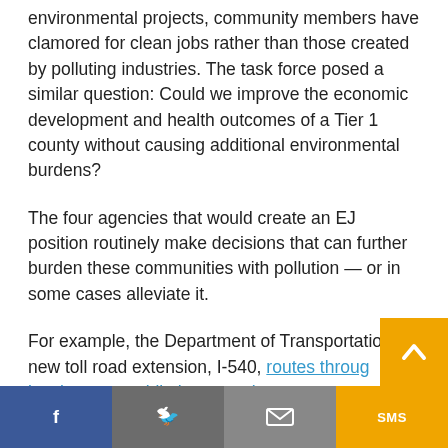environmental projects, community members have clamored for clean jobs rather than those created by polluting industries. The task force posed a similar question: Could we improve the economic development and health outcomes of a Tier 1 county without causing additional environmental burdens?
The four agencies that would create an EJ position routinely make decisions that can further burden these communities with pollution — or in some cases alleviate it.
For example, the Department of Transportation's new toll road extension, I-540, routes through a low-income mobile home park.